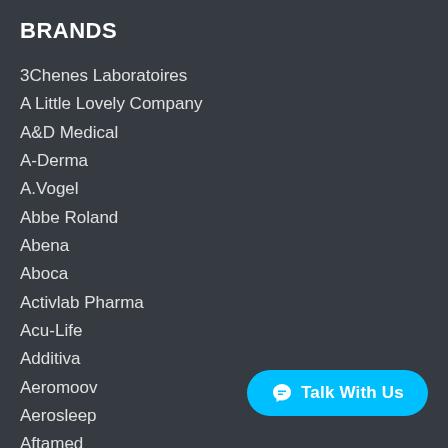BRANDS
3Chenes Laboratoires
A Little Lovely Company
A&D Medical
A-Derma
A.Vogel
Abbe Roland
Abena
Aboca
Activlab Pharma
Acu-Life
Additiva
Aeromoov
Aerosleep
Aftamed
Agetis
AgPharm